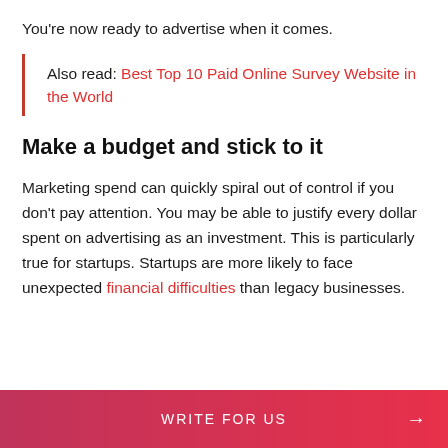You're now ready to advertise when it comes.
Also read: Best Top 10 Paid Online Survey Website in the World
Make a budget and stick to it
Marketing spend can quickly spiral out of control if you don't pay attention. You may be able to justify every dollar spent on advertising as an investment. This is particularly true for startups. Startups are more likely to face unexpected financial difficulties than legacy businesses.
WRITE FOR US →